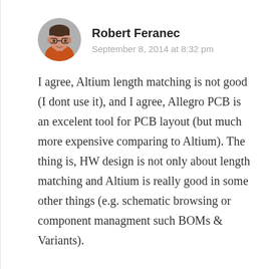[Figure (photo): Circular avatar photo of Robert Feranec, a man wearing glasses and an orange shirt]
Robert Feranec
September 8, 2014 at 8:32 pm
I agree, Altium length matching is not good (I dont use it), and I agree, Allegro PCB is an excelent tool for PCB layout (but much more expensive comparing to Altium). The thing is, HW design is not only about length matching and Altium is really good in some other things (e.g. schematic browsing or component managment such BOMs & Variants).